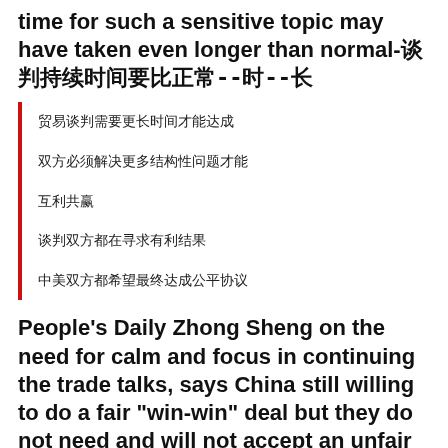time for such a sensitive topic may have taken even longer than normal-[CJK characters]--[CJK]--[CJK]
[CJK characters]
[CJK characters]
[CJK characters]
[CJK characters]
[CJK characters]
People's Daily Zhong Sheng on the need for calm and focus in continuing the trade talks, says China still willing to do a fair "win-win" deal but they do not need and will not accept an unfair one-[CJK characters]